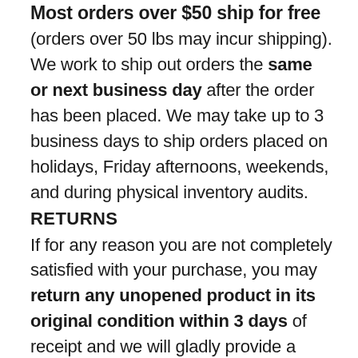Most orders over $50 ship for free (orders over 50 lbs may incur shipping). We work to ship out orders the same or next business day after the order has been placed. We may take up to 3 business days to ship orders placed on holidays, Friday afternoons, weekends, and during physical inventory audits.
RETURNS
If for any reason you are not completely satisfied with your purchase, you may return any unopened product in its original condition within 3 days of receipt and we will gladly provide a refund, replacement, or an exchange. Buyer pays return